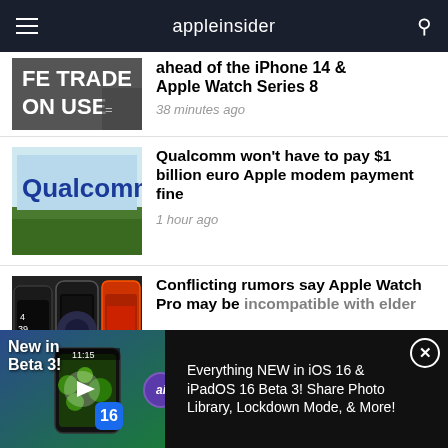appleinsider
ahead of the iPhone 14 & Apple Watch Series 8
38 minutes ago
[Figure (photo): Qualcomm sign on building exterior with grass]
Qualcomm won't have to pay $1 billion euro Apple modem payment fine
1 hour ago
[Figure (photo): Apple Watch models side by side]
Conflicting rumors say Apple Watch Pro may be incompatible with elder
[Figure (screenshot): Ad banner: Everything NEW in iOS 16 & iPadOS 16 Beta 3! Share Photo Library, Lockdown Mode, & More!]